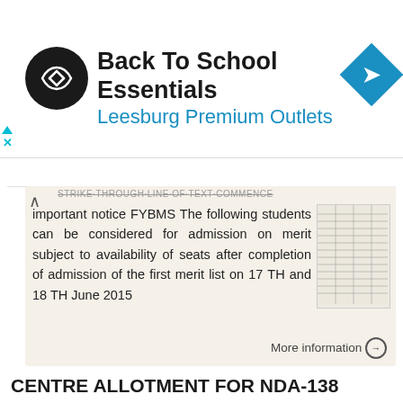[Figure (screenshot): Ad banner for 'Back To School Essentials' at Leesburg Premium Outlets with logo and navigation arrow icon]
important notice FYBMS The following students can be considered for admission on merit subject to availability of seats after completion of admission of the first merit list on 17 TH and 18 TH June 2015
More information →
CENTRE ALLOTMENT FOR NDA-138 COURSE AND NAVAC-100 COURSE COMENCING ON 02 JULY 2017 NAME OF
CENTRE ALLOTMENT FOR NDA-138 COURSE AND NAVAC-100 COURSE COMENCING ON 02 JULY 2017 SER No. UPSC ROLL No. NAME OF CANDIDATE PREF